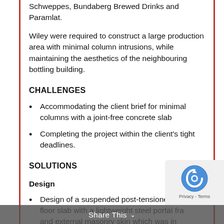Schweppes, Bundaberg Brewed Drinks and Paramlat.
Wiley were required to construct a large production area with minimal column intrusions, while maintaining the aesthetics of the neighbouring bottling building.
CHALLENGES
Accommodating the client brief for minimal columns with a joint-free concrete slab
Completing the project within the client's tight deadlines.
SOLUTIONS
Design
Design of a suspended post-tensioned concrete floor slab with a lightweight steel portal frame and external masonry skin which was in